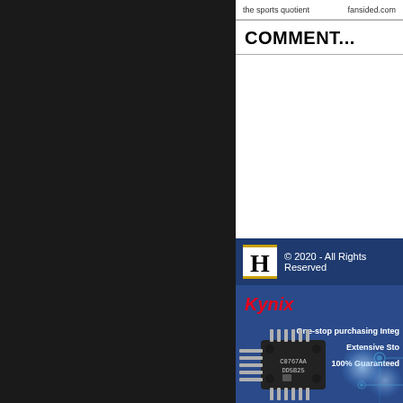the sports quotient   fansided.com
COMMENT...
© 2020 - All Rights Reserved
[Figure (logo): Kynix advertisement banner with IC chip image, red italic Kynix logo, and text: One-stop purchasing Integ..., Extensive Sto..., 100% Guaranteed]